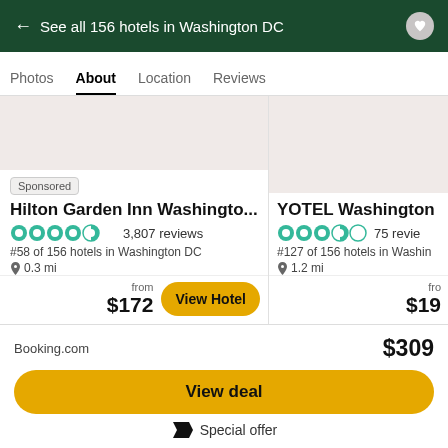← See all 156 hotels in Washington DC
Photos | About | Location | Reviews
Sponsored
Hilton Garden Inn Washingto...
4.5 stars · 3,807 reviews
#58 of 156 hotels in Washington DC
0.3 mi
from $172 View Hotel
YOTEL Washingto...
3.5 stars · 75 revie...
#127 of 156 hotels in Washin...
1.2 mi
from $19...
Booking.com  $309
View deal
🏷 Special offer